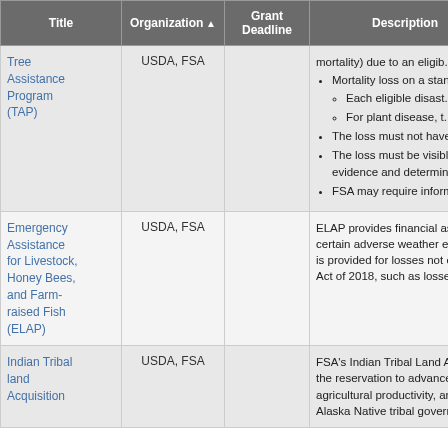| Title | Organization ▲ | Grant Deadline | Description |
| --- | --- | --- | --- |
| Tree Assistance Program (TAP) | USDA, FSA |  | mortality) due to an eligib...
• Mortality loss on a stand...
  ◦ Each eligible disast...
  ◦ For plant disease, t...
• The loss must not have b...
• The loss must be visible ... evidence and determine...
• FSA may require informa... |
| Emergency Assistance for Livestock, Honey Bees, and Farm-raised Fish (ELAP) | USDA, FSA |  | ELAP provides financial assista... certain adverse weather events... is provided for losses not cove... Act of 2018, such as losses no... |
| Indian Tribal land Acquisition | USDA, FSA |  | FSA's Indian Tribal Land Acqui... the reservation to advance and... agricultural productivity, and sa... Alaska Native tribal governmen... |